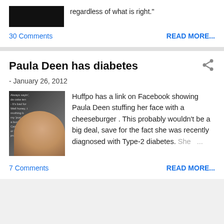regardless of what is right."
30 Comments
READ MORE...
Paula Deen has diabetes
- January 26, 2012
[Figure (photo): Photo of Paula Deen with text overlay]
Huffpo has a link on Facebook showing Paula Deen stuffing her face with a cheeseburger . This probably wouldn't be a big deal, save for the fact she was recently diagnosed with Type-2 diabetes. She ...
7 Comments
READ MORE...